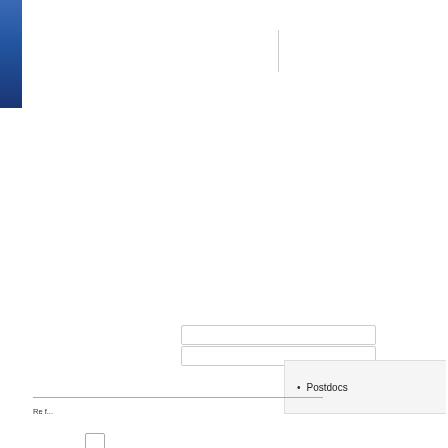[Figure (other): Blue gradient block in top-left corner of page, partial view of a UI or cover element]
[Figure (other): Thin vertical line near top center of page]
[Figure (other): Two empty input/text field boxes stacked vertically]
[Figure (other): A single checkbox (unchecked)]
[Figure (other): A single empty input/text field box]
[Figure (other): A right-side panel with bullet item 'Postdocs']